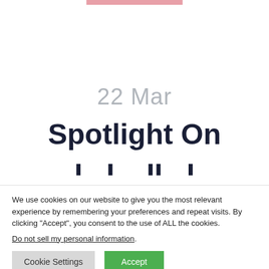[Figure (other): Partial pink/salmon colored bar visible at the top of the page, cropped]
22 Mar
Spotlight On
We use cookies on our website to give you the most relevant experience by remembering your preferences and repeat visits. By clicking “Accept”, you consent to the use of ALL the cookies.
Do not sell my personal information.
Cookie Settings   Accept